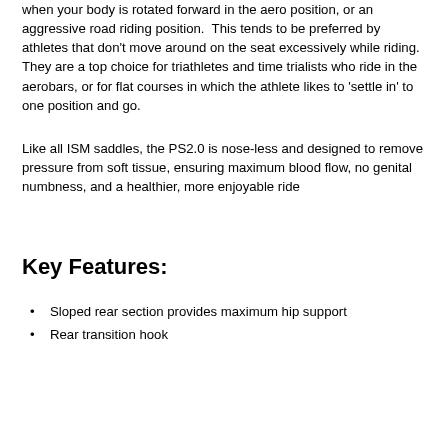when your body is rotated forward in the aero position, or an aggressive road riding position.  This tends to be preferred by athletes that don't move around on the seat excessively while riding.  They are a top choice for triathletes and time trialists who ride in the aerobars, or for flat courses in which the athlete likes to 'settle in' to one position and go.
Like all ISM saddles, the PS2.0 is nose-less and designed to remove pressure from soft tissue, ensuring maximum blood flow, no genital numbness, and a healthier, more enjoyable ride
Key Features:
Sloped rear section provides maximum hip support
Rear transition hook